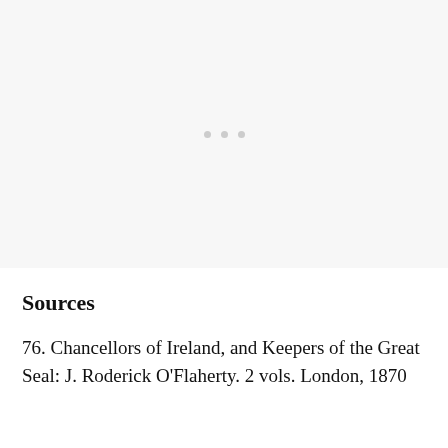[Figure (other): Light gray blank area with three small gray dots centered, representing an image placeholder or decorative separator.]
Sources
76. Chancellors of Ireland, and Keepers of the Great Seal: J. Roderick O'Flaherty. 2 vols. London, 1870